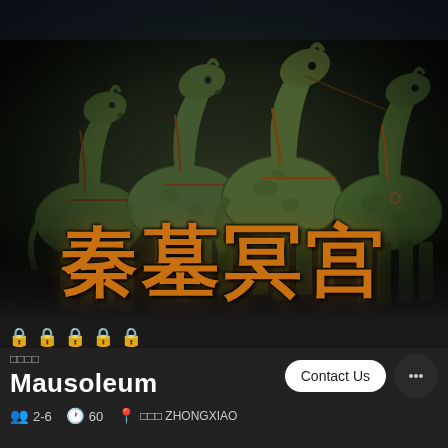[Figure (photo): Dark atmospheric photo of terracotta horse statues (Qin Tomb) rendered in greenish tones against a black background, with large Chinese characters 秦墓冥宫 overlaid in orange/brown color]
🔒🔒🔒🔒🔒 (two red locks, three gray locks)
□□□□
Mausoleum
Contact Us
👥 2-6  🕐 60  📍 □□□ ZHONGXIAO